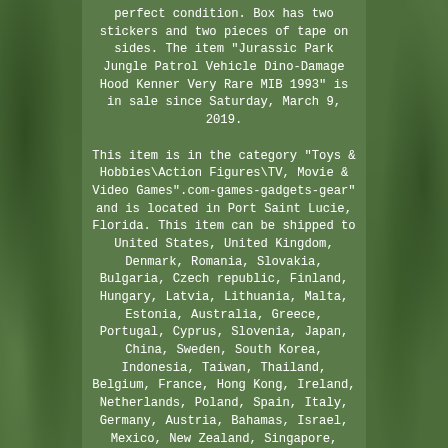perfect condition. Box has two stickers and two pieces of tape on sides. The item "Jurassic Park Jungle Patrol Vehicle Dino-Damage Hood Kenner Very Rare MIB 1993" is in sale since Saturday, March 9, 2019.

This item is in the category "Toys & Hobbies\Action Figures\TV, Movie & Video Games".com-games-gadgets-gear" and is located in Port Saint Lucie, Florida. This item can be shipped to United States, United Kingdom, Denmark, Romania, Slovakia, Bulgaria, Czech republic, Finland, Hungary, Latvia, Lithuania, Malta, Estonia, Australia, Greece, Portugal, Cyprus, Slovenia, Japan, China, Sweden, South Korea, Indonesia, Taiwan, Thailand, Belgium, France, Hong Kong, Ireland, Netherlands, Poland, Spain, Italy, Germany, Austria, Bahamas, Israel, Mexico, New Zealand, Singapore, Switzerland, Norway, Saudi arabia, United arab emirates, Qatar, Kuwait, Bahrain, Croatia, Malaysia, Brazil,